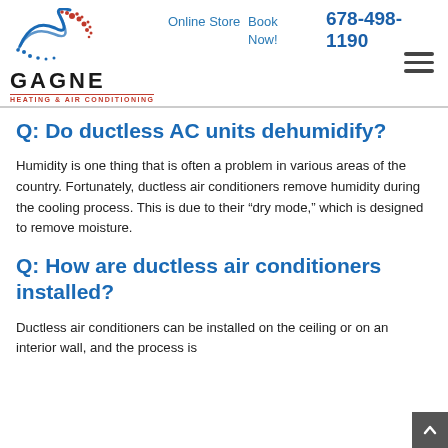Gagne Heating & Air Conditioning — Online Store | Book Now! | 678-498-1190
Q: Do ductless AC units dehumidify?
Humidity is one thing that is often a problem in various areas of the country. Fortunately, ductless air conditioners remove humidity during the cooling process. This is due to their “dry mode,” which is designed to remove moisture.
Q: How are ductless air conditioners installed?
Ductless air conditioners can be installed on the ceiling or on an interior wall, and the process is